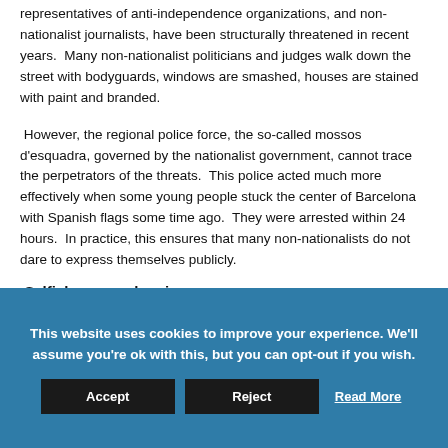representatives of anti-independence organizations, and non-nationalist journalists, have been structurally threatened in recent years. Many non-nationalist politicians and judges walk down the street with bodyguards, windows are smashed, houses are stained with paint and branded.
However, the regional police force, the so-called mossos d'esquadra, governed by the nationalist government, cannot trace the perpetrators of the threats. This police acted much more effectively when some young people stuck the center of Barcelona with Spanish flags some time ago. They were arrested within 24 hours. In practice, this ensures that many non-nationalists do not dare to express themselves publicly.
Selfishness and racism
This website uses cookies to improve your experience. We'll assume you're ok with this, but you can opt-out if you wish.